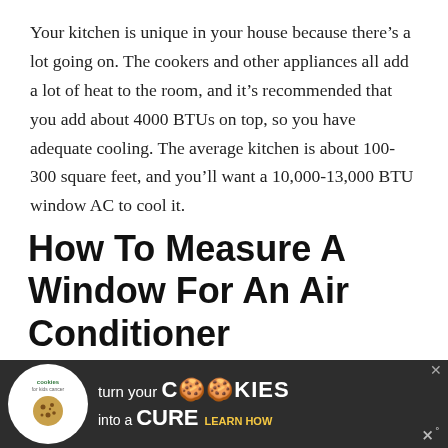Your kitchen is unique in your house because there's a lot going on. The cookers and other appliances all add a lot of heat to the room, and it's recommended that you add about 4000 BTUs on top, so you have adequate cooling. The average kitchen is about 100-300 square feet, and you'll want a 10,000-13,000 BTU window AC to cool it.
How To Measure A Window For An Air Conditioner
Alongside the BTUs of an air conditioner, you also need to consider the physical dimensions and whether it will fit in your window. It's important to measure your window correctly...
[Figure (other): Advertisement banner: cookies for kids cancer - turn your COOKIES into a CURE LEARN HOW, with close button and weather channel logo]